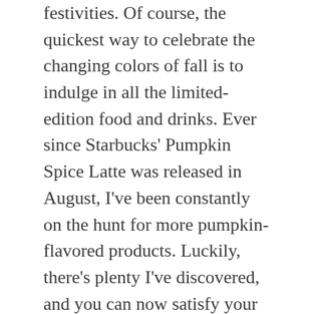festivities. Of course, the quickest way to celebrate the changing colors of fall is to indulge in all the limited-edition food and drinks. Ever since Starbucks' Pumpkin Spice Latte was released in August, I've been constantly on the hunt for more pumpkin-flavored products. Luckily, there's plenty I've discovered, and you can now satisfy your daily pumpkin spice latte fix from the comfort of your own home. These 6 pumpkin-flavored coffee creamers for fall 2019 will be staples in your kitchen, because you never know when you'll need that PSL fix.
One of the most buzzed about pumpkin-flavored coffee creamers this year is from Starbucks. The announcement about the Pumpkin Spice Latte Creamer came a few weeks after they unveiled a new line of speciality latte-inspired creamers.